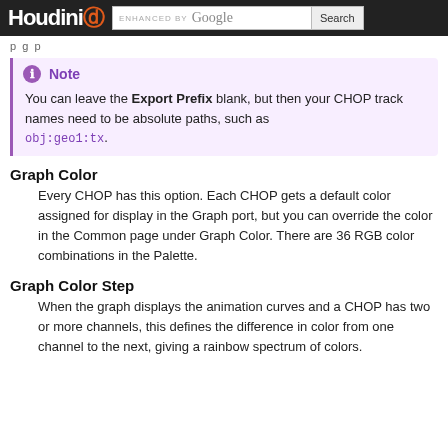Houdini ENHANCED BY Google Search
p g p
Note
You can leave the Export Prefix blank, but then your CHOP track names need to be absolute paths, such as obj:geo1:tx.
Graph Color
Every CHOP has this option. Each CHOP gets a default color assigned for display in the Graph port, but you can override the color in the Common page under Graph Color. There are 36 RGB color combinations in the Palette.
Graph Color Step
When the graph displays the animation curves and a CHOP has two or more channels, this defines the difference in color from one channel to the next, giving a rainbow spectrum of colors.